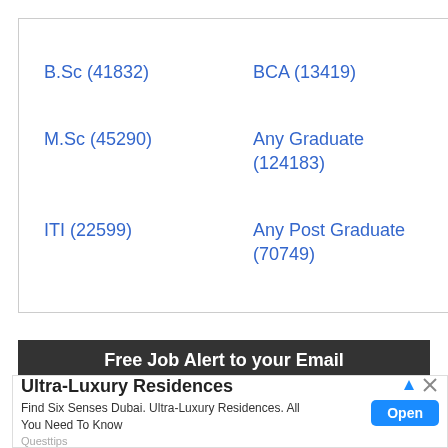B.Sc (41832)
BCA (13419)
M.Sc (45290)
Any Graduate (124183)
ITI (22599)
Any Post Graduate (70749)
[Figure (screenshot): Dark banner advertisement: 'Free Job Alert to your Email' with a 'SUBSCRIBE NOW' button]
[Figure (screenshot): Popup advertisement for 'Ultra-Luxury Residences' by Questtips with Open button]